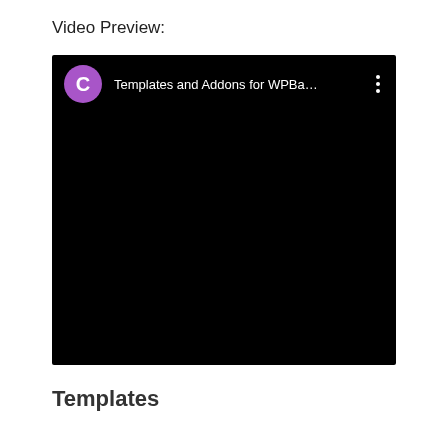Video Preview:
[Figure (screenshot): A black video preview window with a purple avatar circle with letter C, title 'Templates and Addons for WPBa...' and a vertical three-dot menu icon on a dark background]
Templates